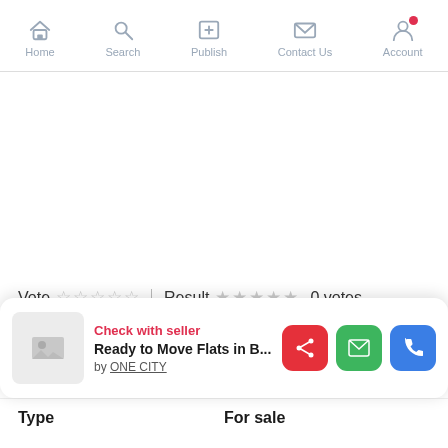Home  Search  Publish  Contact Us  Account
Vote ☆☆☆☆☆  Result ☆☆☆☆☆  0 votes
[Figure (screenshot): Listing card showing: Check with seller / Ready to Move Flats in B... by ONE CITY, with share, email, and call action buttons]
Type    For sale